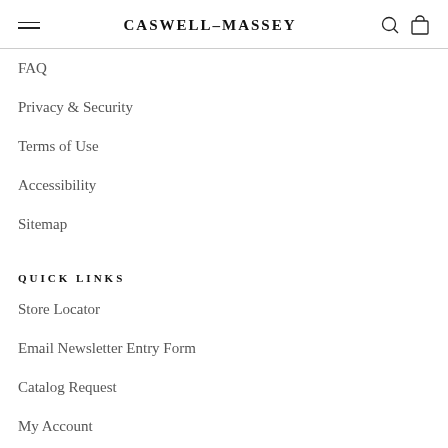CASWELL-MASSEY
FAQ
Privacy & Security
Terms of Use
Accessibility
Sitemap
QUICK LINKS
Store Locator
Email Newsletter Entry Form
Catalog Request
My Account
Order Status